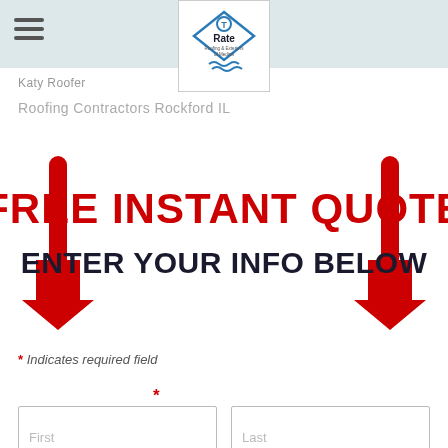T-Rate Roofing & Exteriors of Medina
Katy Roofer
Roofing Contractors Rockford IL
[Figure (infographic): Red promotional banner with large red bold text 'FREE INSTANT QUOTE' and dark bold text 'ENTER YOUR INFO BELOW', flanked by large red downward-pointing arrows on both sides.]
* Indicates required field
First / Last name form fields with required asterisk